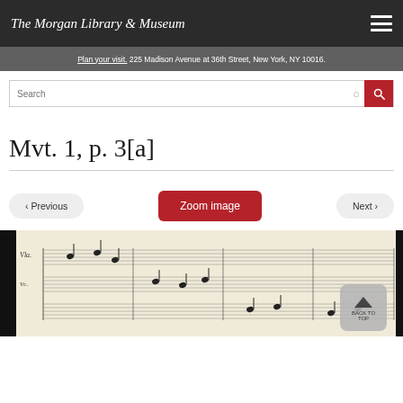The Morgan Library & Museum
Plan your visit. 225 Madison Avenue at 36th Street, New York, NY 10016.
Mvt. 1, p. 3[a]
[Figure (screenshot): Music manuscript page showing handwritten orchestral score]